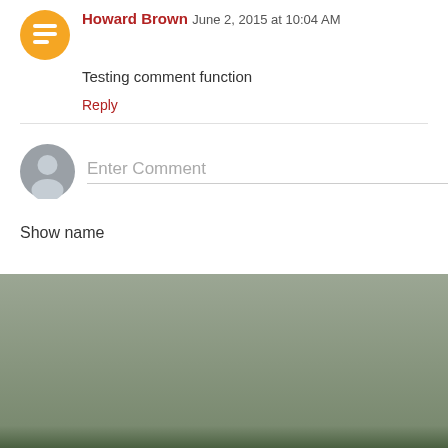Howard Brown June 2, 2015 at 10:04 AM
Testing comment function
Reply
Enter Comment
Show name
Newer Post
Home
Subscribe to: Post Comments (Atom)